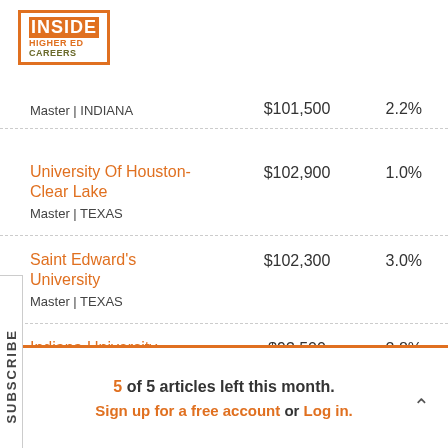[Figure (logo): Inside Higher Ed Careers logo - orange box with white INSIDE text]
| Institution | Salary | Change |
| --- | --- | --- |
| [partial] Master | INDIANA | $101,500 | 2.2% |
| University Of Houston-Clear Lake
Master | TEXAS | $102,900 | 1.0% |
| Saint Edward's University
Master | TEXAS | $102,300 | 3.0% |
| Indiana University-Kokomo
Master | INDIANA | $93,500 | 2.8% |
5 of 5 articles left this month. Sign up for a free account or Log in.